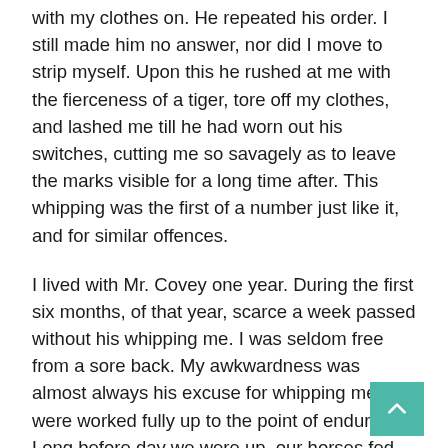with my clothes on. He repeated his order. I still made him no answer, nor did I move to strip myself. Upon this he rushed at me with the fierceness of a tiger, tore off my clothes, and lashed me till he had worn out his switches, cutting me so savagely as to leave the marks visible for a long time after. This whipping was the first of a number just like it, and for similar offences.
I lived with Mr. Covey one year. During the first six months, of that year, scarce a week passed without his whipping me. I was seldom free from a sore back. My awkwardness was almost always his excuse for whipping me. We were worked fully up to the point of endurance. Long before day we were up, our horses fed, and by the first approach of day we were off to the field with our hoes and ploughing teams. Mr.